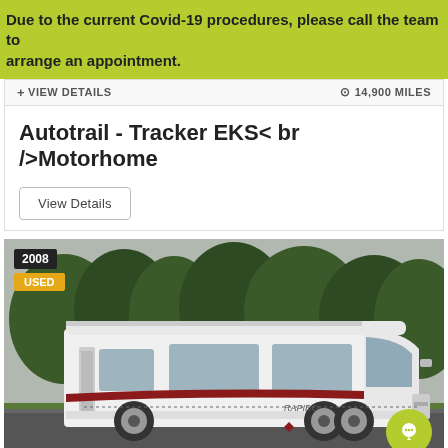Due to the current Covid-19 procedures, please call the team to arrange an appointment.
+ VIEW DETAILS    ⊙ 14,900 MILES
Autotrail -  Tracker EKS< br />Motorhome
View Details
[Figure (photo): A white 2008 used Autotrail Tracker EKS motorhome/Rapido parked on a road with trees in background. Badge shows '2008' and 'USED'.]